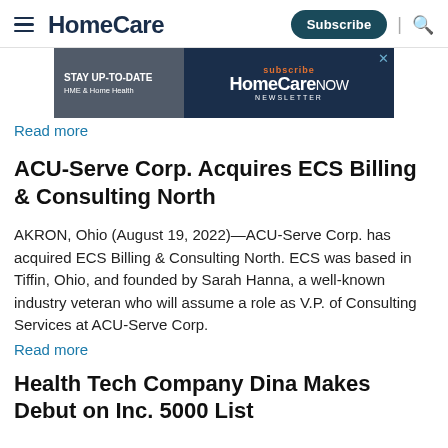HomeCare — Subscribe
[Figure (screenshot): Advertisement banner for HomeCare NOW Newsletter with text: STAY UP-TO-DATE HME & Home Health, subscribe HomeCare NOW NEWSLETTER]
Read more
ACU-Serve Corp. Acquires ECS Billing & Consulting North
AKRON, Ohio (August 19, 2022)—ACU-Serve Corp. has acquired ECS Billing & Consulting North. ECS was based in Tiffin, Ohio, and founded by Sarah Hanna, a well-known industry veteran who will assume a role as V.P. of Consulting Services at ACU-Serve Corp. Read more
Health Tech Company Dina Makes Debut on Inc. 5000 List